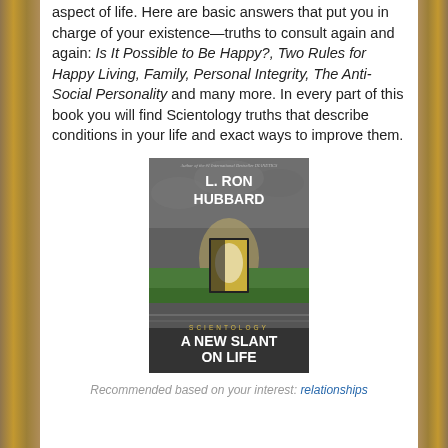aspect of life. Here are basic answers that put you in charge of your existence—truths to consult again and again: Is It Possible to Be Happy?, Two Rules for Happy Living, Family, Personal Integrity, The Anti-Social Personality and many more. In every part of this book you will find Scientology truths that describe conditions in your life and exact ways to improve them.
[Figure (illustration): Book cover of 'Scientology: A New Slant on Life' by L. Ron Hubbard, showing a dramatic open door with light streaming through onto a field, against a stormy sky background.]
Recommended based on your interest: relationships